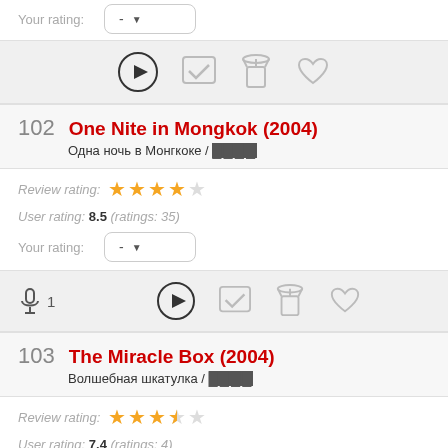Your rating: -
[Figure (screenshot): Action bar with play, checkmark, popcorn, and heart icons]
102 One Nite in Mongkok (2004) / Одна ночь в Монгкоке
Review rating: 4 out of 5 stars
User rating: 8.5 (ratings: 35)
Your rating: -
[Figure (screenshot): Action bar with mic (1), play, checkmark, popcorn, and heart icons]
103 The Miracle Box (2004) / Волшебная шкатулка
Review rating: 3.5 out of 5 stars
User rating: 7.4 (ratings: 4)